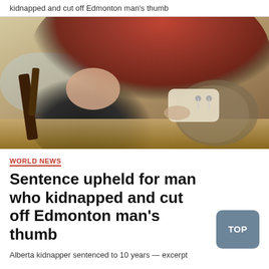kidnapped and cut off Edmonton man's thumb
[Figure (photo): Person in red sweater sitting with a bandaged hand/thumb, a cat visible, wooden furniture leg in background, indoor setting with hardwood floor]
WORLD NEWS
Sentence upheld for man who kidnapped and cut off Edmonton man's thumb
Alberta kidnapper sentenced to 10 years — excerpt cut off